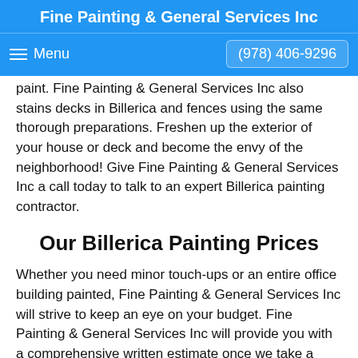Fine Painting & General Services Inc
Menu  (978) 406-9296
paint. Fine Painting & General Services Inc also stains decks in Billerica and fences using the same thorough preparations. Freshen up the exterior of your house or deck and become the envy of the neighborhood! Give Fine Painting & General Services Inc a call today to talk to an expert Billerica painting contractor.
Our Billerica Painting Prices
Whether you need minor touch-ups or an entire office building painted, Fine Painting & General Services Inc will strive to keep an eye on your budget. Fine Painting & General Services Inc will provide you with a comprehensive written estimate once we take a look at your painting project in Billerica. You won't be hit with